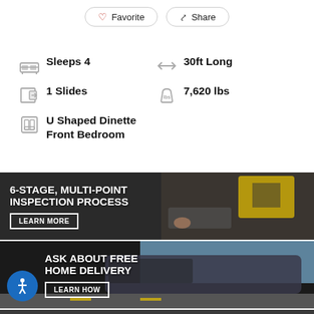Favorite
Share
Sleeps 4
30ft Long
1 Slides
7,620 lbs
U Shaped Dinette
Front Bedroom
[Figure (photo): Banner: 6-STAGE, MULTI-POINT INSPECTION PROCESS with LEARN MORE button, showing mechanic with tablet and yellow equipment]
[Figure (photo): Banner: ASK ABOUT FREE HOME DELIVERY with LEARN HOW button, showing luxury motorcoach RV on road]
[Figure (photo): Partial banner at bottom of page]